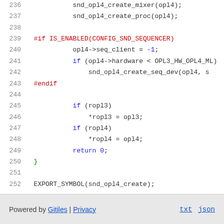236   snd_opl4_create_mixer(opl4);
237   snd_opl4_create_proc(opl4);
238
239   #if IS_ENABLED(CONFIG_SND_SEQUENCER)
240       opl4->seq_client = -1;
241       if (opl4->hardware < OPL3_HW_OPL4_ML)
242           snd_opl4_create_seq_dev(opl4, s
243   #endif
244
245       if (ropl3)
246           *ropl3 = opl3;
247       if (ropl4)
248           *ropl4 = opl4;
249       return 0;
250   }
251
252   EXPORT_SYMBOL(snd_opl4_create);
Powered by Gitiles | Privacy    txt  json